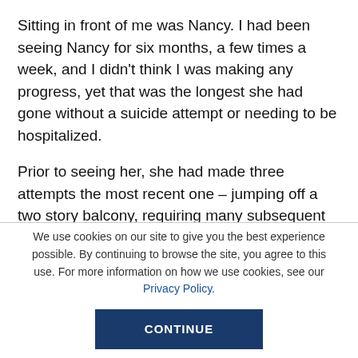Sitting in front of me was Nancy. I had been seeing Nancy for six months, a few times a week, and I didn't think I was making any progress, yet that was the longest she had gone without a suicide attempt or needing to be hospitalized.
Prior to seeing her, she had made three attempts the most recent one – jumping off a two story balcony, requiring many subsequent surgeries – that certainly should have killed her. She had also been an inpatient
We use cookies on our site to give you the best experience possible. By continuing to browse the site, you agree to this use. For more information on how we use cookies, see our Privacy Policy.
CONTINUE